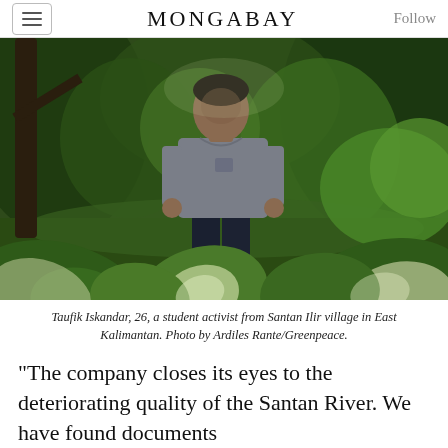MONGABAY
[Figure (photo): Young man standing outdoors in a lush green tropical setting, wearing a grey t-shirt and dark jeans, surrounded by large tropical leafy plants in the foreground and trees in the background.]
Taufik Iskandar, 26, a student activist from Santan Ilir village in East Kalimantan. Photo by Ardiles Rante/Greenpeace.
“The company closes its eyes to the deteriorating quality of the Santan River. We have found documents